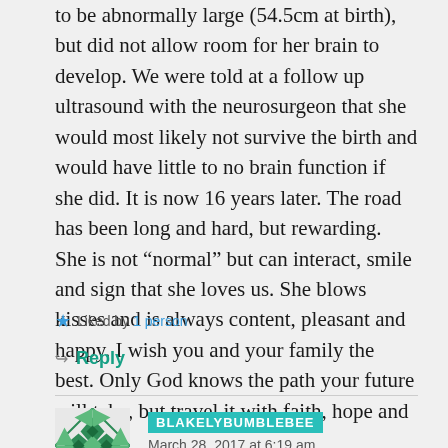to be abnormally large (54.5cm at birth), but did not allow room for her brain to develop. We were told at a follow up ultrasound with the neurosurgeon that she would most likely not survive the birth and would have little to no brain function if she did. It is now 16 years later. The road has been long and hard, but rewarding. She is not “normal” but can interact, smile and sign that she loves us. She blows kisses and is always content, pleasant and happy. I wish you and your family the best. Only God knows the path your future will take, but travel it with faith, hope and love.
Liked by 1 person
Reply
BLAKELYBUMBLEBEE
March 28, 2017 at 6:19 am